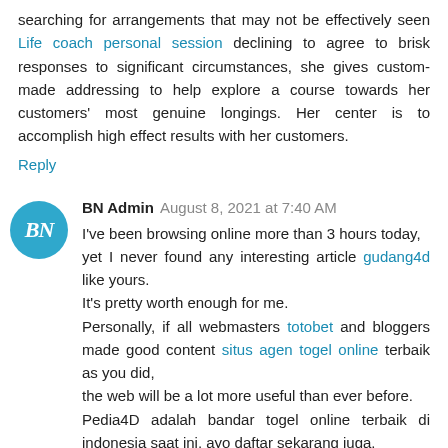searching for arrangements that may not be effectively seen Life coach personal session declining to agree to brisk responses to significant circumstances, she gives custom-made addressing to help explore a course towards her customers' most genuine longings. Her center is to accomplish high effect results with her customers.
Reply
BN Admin  August 8, 2021 at 7:40 AM
I've been browsing online more than 3 hours today, yet I never found any interesting article gudang4d like yours.
It's pretty worth enough for me.
Personally, if all webmasters totobet and bloggers made good content situs agen togel online terbaik as you did, the web will be a lot more useful than ever before.
Pedia4D adalah bandar togel online terbaik di indonesia saat ini, ayo daftar sekarang juga.
Reply